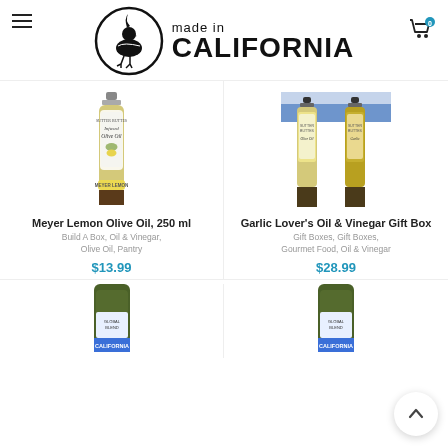[Figure (logo): Made in California logo with quail bird in circle and bold text]
[Figure (photo): Meyer Lemon Olive Oil 250ml tall bottle with green label]
Meyer Lemon Olive Oil, 250 ml
Build A Box, Oil & Vinegar, Olive Oil, Pantry
$13.99
[Figure (photo): Garlic Lover's Oil & Vinegar Gift Box with two bottles and blue ribbon]
Garlic Lover's Oil & Vinegar Gift Box
Gift Boxes, Gift Boxes, Gourmet Food, Oil & Vinegar
$28.99
[Figure (photo): Small dark green glass olive oil bottle with California label, partially visible]
[Figure (photo): Small dark green glass olive oil bottle with California label, partially visible]